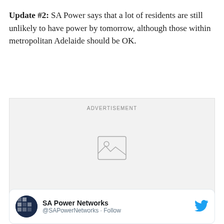Update #2: SA Power says that a lot of residents are still unlikely to have power by tomorrow, although those within metropolitan Adelaide should be OK.
[Figure (other): Advertisement placeholder box with image icon and 'ADVERTISEMENT' label]
SA Power Networks @SAPowerNetworks · Follow